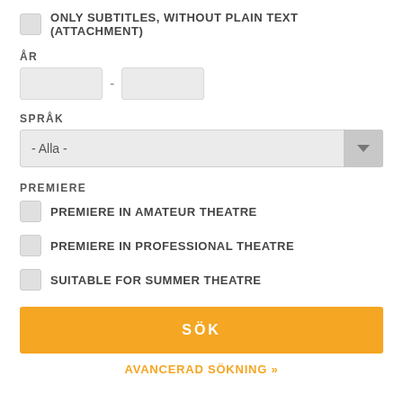ONLY SUBTITLES, WITHOUT PLAIN TEXT (ATTACHMENT)
ÅR
SPRÅK
- Alla -
PREMIERE
PREMIERE IN AMATEUR THEATRE
PREMIERE IN PROFESSIONAL THEATRE
SUITABLE FOR SUMMER THEATRE
SÖK
AVANCERAD SÖKNING »